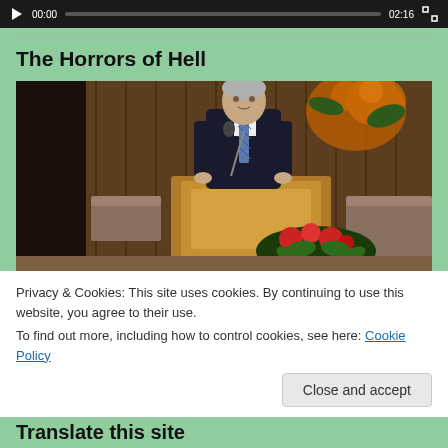[Figure (screenshot): Video player control bar with play button, timestamp 00:00 on left, progress bar, timestamp 02:16 on right, and fullscreen button]
The Horrors of Hell
[Figure (screenshot): Video thumbnail showing a man in a dark suit and tie standing at a wooden pulpit/podium in a church setting, with wood-paneled walls and floral arrangements]
Privacy & Cookies: This site uses cookies. By continuing to use this website, you agree to their use.
To find out more, including how to control cookies, see here: Cookie Policy
Close and accept
Translate this site